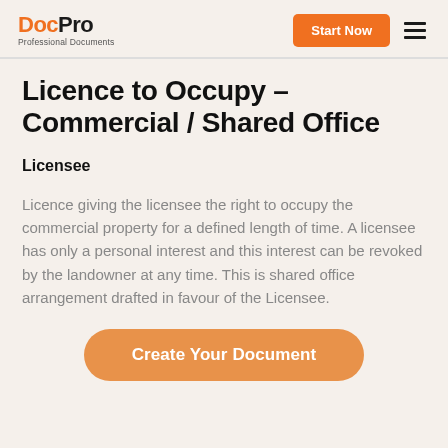DocPro Professional Documents | Start Now
Licence to Occupy - Commercial / Shared Office
Licensee
Licence giving the licensee the right to occupy the commercial property for a defined length of time. A licensee has only a personal interest and this interest can be revoked by the landowner at any time. This is shared office arrangement drafted in favour of the Licensee.
Create Your Document